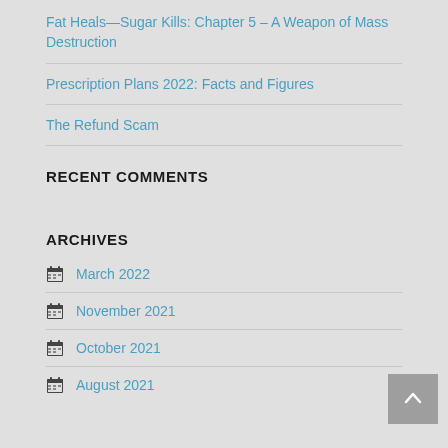Fat Heals—Sugar Kills: Chapter 5 – A Weapon of Mass Destruction
Prescription Plans 2022: Facts and Figures
The Refund Scam
RECENT COMMENTS
ARCHIVES
March 2022
November 2021
October 2021
August 2021